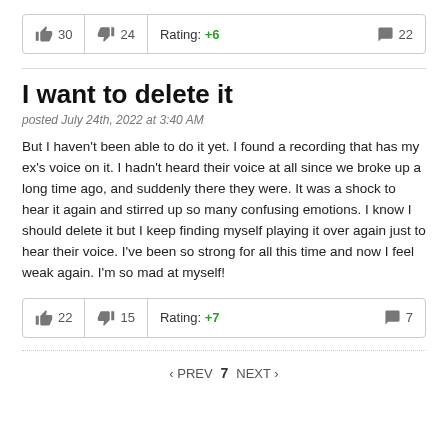| thumbs-up | thumbs-down | Rating | comments |
| --- | --- | --- | --- |
| 30 | 24 | Rating: +6 | 22 |
I want to delete it
posted July 24th, 2022 at 3:40 AM
But I haven't been able to do it yet. I found a recording that has my ex's voice on it. I hadn't heard their voice at all since we broke up a long time ago, and suddenly there they were. It was a shock to hear it again and stirred up so many confusing emotions. I know I should delete it but I keep finding myself playing it over again just to hear their voice. I've been so strong for all this time and now I feel weak again. I'm so mad at myself!
| thumbs-up | thumbs-down | Rating | comments |
| --- | --- | --- | --- |
| 22 | 15 | Rating: +7 | 7 |
< PREV 7 NEXT >